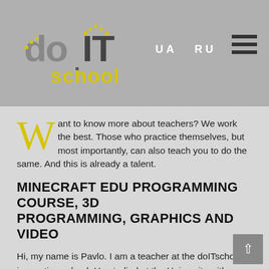[Figure (logo): doIT school logo with pixelated/dotted style text in grey and yellow]
UA   RU
Want to know more about teachers? We work the best. Those who practice themselves, but most importantly, can also teach you to do the same. And this is already a talent.
MINECRAFT EDU PROGRAMMING COURSE, 3D PROGRAMMING, GRAPHICS AND VIDEO
Hi, my name is Pavlo. I am a teacher at the doITschool innovation school. He studied at the University with a degree in Informatics. I have experience working on the world-famous freelance exchange for the position of back-end developer (HTML, CSS, PHP, jQuery). The field of IT is interested in the fact that it has many tools through which you can realize yourself, create something useful for people and society. If you are ready to learn a great deal of new and exciting information every day. IT is for